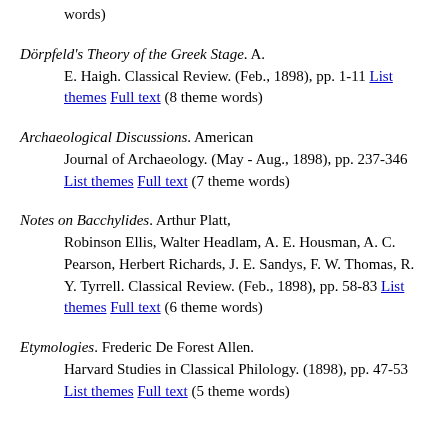words)
Dörpfeld's Theory of the Greek Stage. A. E. Haigh. Classical Review. (Feb., 1898), pp. 1-11 List themes Full text (8 theme words)
Archaeological Discussions. American Journal of Archaeology. (May - Aug., 1898), pp. 237-346 List themes Full text (7 theme words)
Notes on Bacchylides. Arthur Platt, Robinson Ellis, Walter Headlam, A. E. Housman, A. C. Pearson, Herbert Richards, J. E. Sandys, F. W. Thomas, R. Y. Tyrrell. Classical Review. (Feb., 1898), pp. 58-83 List themes Full text (6 theme words)
Etymologies. Frederic De Forest Allen. Harvard Studies in Classical Philology. (1898), pp. 47-53 List themes Full text (5 theme words)